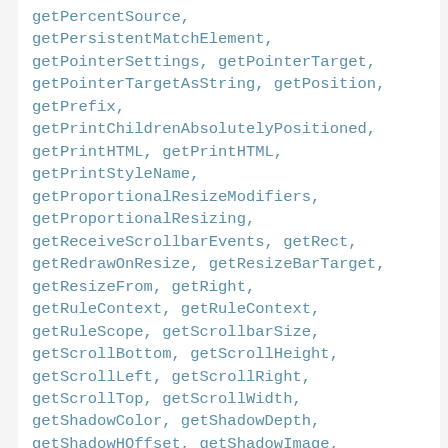getPercentSource, getPersistentMatchElement, getPointerSettings, getPointerTarget, getPointerTargetAsString, getPosition, getPrefix, getPrintChildrenAbsolutelyPositioned, getPrintHTML, getPrintHTML, getPrintStyleName, getProportionalResizeModifiers, getProportionalResizing, getReceiveScrollbarEvents, getRect, getRedrawOnResize, getResizeBarTarget, getResizeFrom, getRight, getRuleContext, getRuleContext, getRuleScope, getScrollbarSize, getScrollBottom, getScrollHeight, getScrollLeft, getScrollRight, getScrollTop, getScrollWidth, getShadowColor, getShadowDepth, getShadowHOffset, getShadowImage,